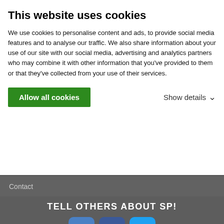This website uses cookies
We use cookies to personalise content and ads, to provide social media features and to analyse our traffic. We also share information about your use of our site with our social media, advertising and analytics partners who may combine it with other information that you've provided to them or that they've collected from your use of their services.
Allow all cookies
Show details
Contact
TELL OTHERS ABOUT SP!
[Figure (infographic): Three social share icons: a blue plus button, a dark blue Facebook button with f, and a light blue Twitter button with bird icon.]
"Most people are other people. Their thoughts are someone else's opinions, their lives a mimicry, their passions a quotation."  –Oscar Wilde
© 2006-2021 SummitPost.org. All Rights Reserved.